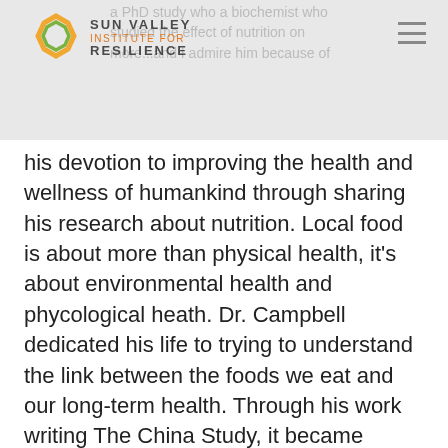Sun Valley Institute for Resilience
his devotion to improving the health and wellness of humankind through sharing his research about nutrition. Local food is about more than physical health, it's about environmental health and phycological heath. Dr. Campbell dedicated his life to trying to understand the link between the foods we eat and our long-term health. Through his work writing The China Study, it became evident that the Western diet is not a sustainable one for improving health over the course of our lifespan and the common thread between healthy communities is a larger presence of local